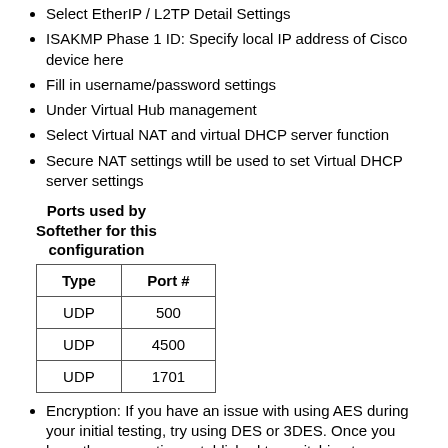Select EtherIP / L2TP Detail Settings
ISAKMP Phase 1 ID: Specify local IP address of Cisco device here
Fill in username/password settings
Under Virtual Hub management
Select Virtual NAT and virtual DHCP server function
Secure NAT settings wtill be used to set Virtual DHCP server settings
Ports used by Softether for this configuration
| Type | Port # |
| --- | --- |
| UDP | 500 |
| UDP | 4500 |
| UDP | 1701 |
Encryption: If you have an issue with using AES during your initial testing, try using DES or 3DES. Once you have the connection established try switching to a more secure